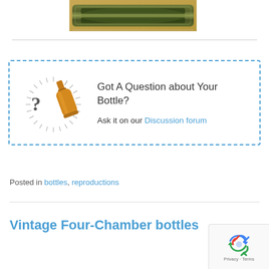[Figure (photo): Close-up photo of green glass bottle bottom viewed from top, showing dark olive/green glass texture]
[Figure (illustration): Illustration of an amber bottle with question mark and sunburst rays, used as a decorative icon for the question box]
Got A Question about Your Bottle?
Ask it on our Discussion forum
Posted in bottles, reproductions
Vintage Four-Chamber bottles